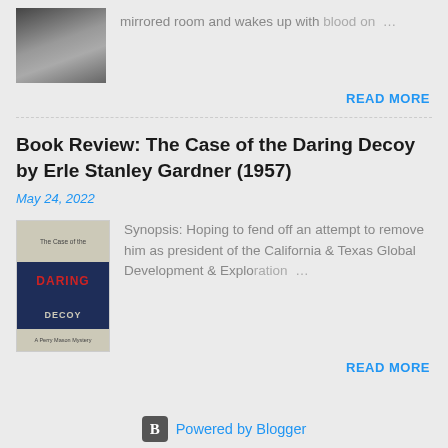mirrored room and wakes up with blood on …
READ MORE
Book Review: The Case of the Daring Decoy by Erle Stanley Gardner (1957)
May 24, 2022
[Figure (photo): Book cover of The Case of the Daring Decoy by Erle Stanley Gardner, featuring a silhouette of a woman in black and red text on dark blue background]
Synopsis: Hoping to fend off an attempt to remove him as president of the California & Texas Global Development & Exploration …
READ MORE
Powered by Blogger